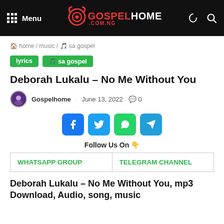Menu | GOSPELHOME.COM.NG
home / music / 🎵 sa gospel
lyrics
🎵 sa gospel
Deborah Lukalu – No Me Without You
Gospelhome · June 13, 2022  💬 0
[Figure (other): Social share buttons: Facebook, Twitter, WhatsApp, Telegram]
Follow Us On 👇
| WHATSAPP GROUP | TELEGRAM CHANNEL |
Deborah Lukalu – No Me Without You, mp3 Download, Audio, song, music